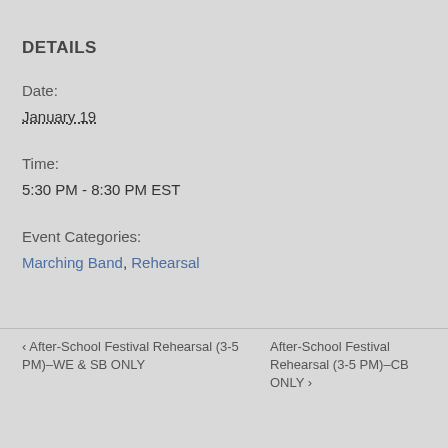DETAILS
Date:
January 19
Time:
5:30 PM - 8:30 PM EST
Event Categories:
Marching Band, Rehearsal
< After-School Festival Rehearsal (3-5 PM)–WE & SB ONLY
After-School Festival Rehearsal (3-5 PM)–CB ONLY >